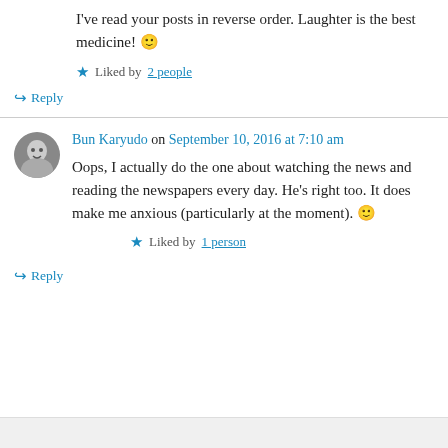I've read your posts in reverse order. Laughter is the best medicine! 🙂
Liked by 2 people
↪ Reply
Bun Karyudo on September 10, 2016 at 7:10 am
Oops, I actually do the one about watching the news and reading the newspapers every day. He's right too. It does make me anxious (particularly at the moment). 🙂
Liked by 1 person
↪ Reply